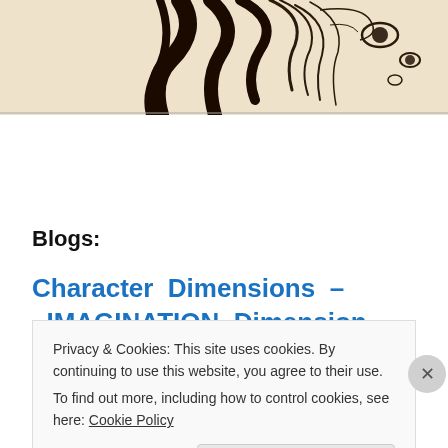[Figure (illustration): Partial illustration/drawing of a face with bold black ink lines on a warm beige background, showing flowing hair and eye detail]
Blogs:
Character Dimensions – IMAGINATION Dimension (Part 1): DAY 165
Privacy & Cookies: This site uses cookies. By continuing to use this website, you agree to their use.
To find out more, including how to control cookies, see here: Cookie Policy
Close and accept